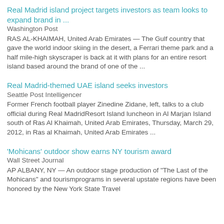Real Madrid island project targets investors as team looks to expand brand in ...
Washington Post
RAS AL-KHAIMAH, United Arab Emirates — The Gulf country that gave the world indoor skiing in the desert, a Ferrari theme park and a half mile-high skyscraper is back at it with plans for an entire resort island based around the brand of one of the ...
Real Madrid-themed UAE island seeks investors
Seattle Post Intelligencer
Former French football player Zinedine Zidane, left, talks to a club official during Real MadridResort Island luncheon in Al Marjan Island south of Ras Al Khaimah, United Arab Emirates, Thursday, March 29, 2012, in Ras al Khaimah, United Arab Emirates ...
'Mohicans' outdoor show earns NY tourism award
Wall Street Journal
AP ALBANY, NY — An outdoor stage production of "The Last of the Mohicans" and tourismprograms in several upstate regions have been honored by the New York State Travel